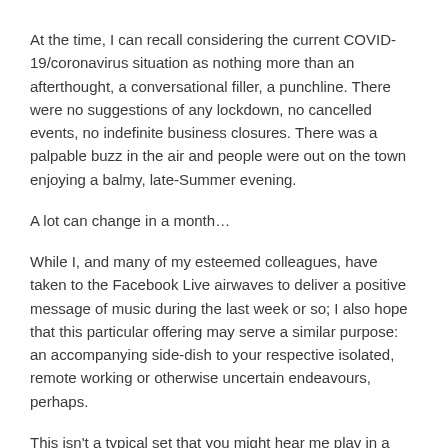At the time, I can recall considering the current COVID-19/coronavirus situation as nothing more than an afterthought, a conversational filler, a punchline. There were no suggestions of any lockdown, no cancelled events, no indefinite business closures. There was a palpable buzz in the air and people were out on the town enjoying a balmy, late-Summer evening.
A lot can change in a month…
While I, and many of my esteemed colleagues, have taken to the Facebook Live airwaves to deliver a positive message of music during the last week or so; I also hope that this particular offering may serve a similar purpose: an accompanying side-dish to your respective isolated, remote working or otherwise uncertain endeavours, perhaps.
This isn't a typical set that you might hear me play in a club nor even as part of our Attic project. For that reason, I originally intended to keep this as a private offering only. All things considered, it feels right to share it out.